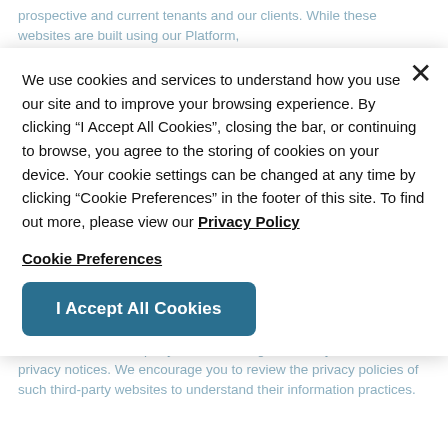prospective and current tenants and our clients. While these websites are built using our Platform,
We use cookies and services to understand how you use our site and to improve your browsing experience. By clicking "I Accept All Cookies", closing the bar, or continuing to browse, you agree to the storing of cookies on your device. Your cookie settings can be changed at any time by clicking "Cookie Preferences" in the footer of this site. To find out more, please view our Privacy Policy
Cookie Preferences
I Accept All Cookies
content of such third-party websites are governed by their own privacy notices. We encourage you to review the privacy policies of such third-party websites to understand their information practices.
WHAT INFORMATION WE COLLECT AND WHY
We may collect Personal Information in various ways, such as when you: enter into a transaction or contractual arrangement with us; participate in Entrata's programs or activities; provide data at